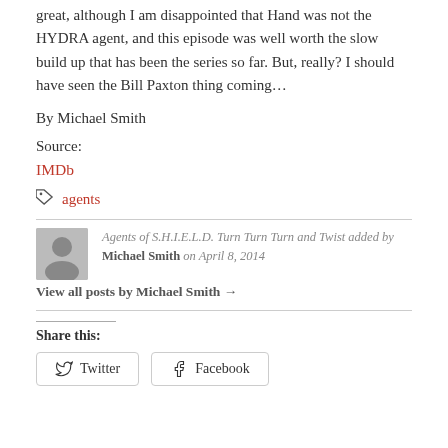great, although I am disappointed that Hand was not the HYDRA agent, and this episode was well worth the slow build up that has been the series so far. But, really? I should have seen the Bill Paxton thing coming…
By Michael Smith
Source:
IMDb
agents
Agents of S.H.I.E.L.D. Turn Turn Turn and Twist added by Michael Smith on April 8, 2014
View all posts by Michael Smith →
Share this:
Twitter   Facebook